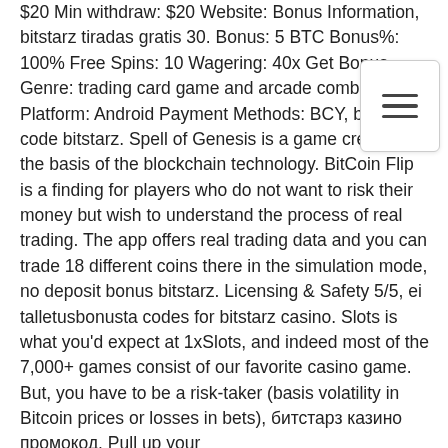$20 Min withdraw: $20 Website: Bonus Information, bitstarz tiradas gratis 30. Bonus: 5 BTC Bonus%: 100% Free Spins: 10 Wagering: 40x Get Bonus. Genre: trading card game and arcade combination Platform: Android Payment Methods: BCY, bonus code bitstarz. Spell of Genesis is a game created on the basis of the blockchain technology. BitCoin Flip is a finding for players who do not want to risk their money but wish to understand the process of real trading. The app offers real trading data and you can trade 18 different coins there in the simulation mode, no deposit bonus bitstarz. Licensing & Safety 5/5, ei talletusbonusta codes for bitstarz casino. Slots is what you'd expect at 1xSlots, and indeed most of the 7,000+ games consist of our favorite casino game. But, you have to be a risk-taker (basis volatility in Bitcoin prices or losses in bets), битстарз казино промокод. Pull up your